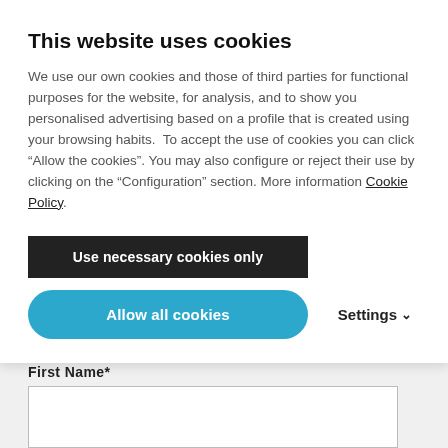This website uses cookies
We use our own cookies and those of third parties for functional purposes for the website, for analysis, and to show you personalised advertising based on a profile that is created using your browsing habits.  To accept the use of cookies you can click “Allow the cookies”. You may also configure or reject their use by clicking on the “Configuration” section. More information Cookie Policy.
Use necessary cookies only
Allow all cookies
Settings
First Name*
Last Name*